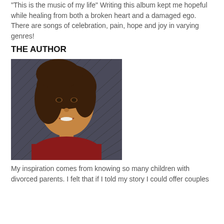"This is the music of my life" Writing this album kept me hopeful while healing from both a broken heart and a damaged ego. There are songs of celebration, pain, hope and joy in varying genres!
THE AUTHOR
[Figure (photo): Portrait photo of a woman with dark hair, smiling, wearing a red top, with a decorative metal background]
My inspiration comes from knowing so many children with divorced parents. I felt that if I told my story I could offer couples